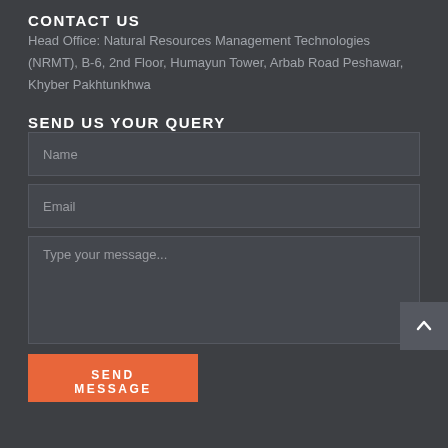CONTACT US
Head Office: Natural Resources Management Technologies (NRMT), B-6, 2nd Floor, Humayun Tower, Arbab Road Peshawar, Khyber Pakhtunkhwa
SEND US YOUR QUERY
Name [input field]
Email [input field]
Type your message... [textarea]
SEND MESSAGE [button]